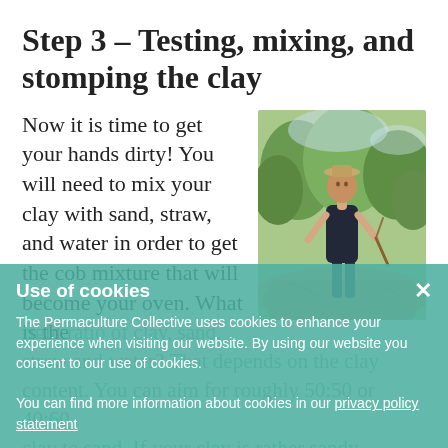Step 3 – Testing, mixing, and stomping the clay
Now it is time to get your hands dirty! You will need to mix your clay with sand, straw, and water in order to get the cob mixture that will become your oven. What is the
[Figure (photo): A person standing on rocks outdoors in a forested/natural setting, wearing a black tank top and shorts, viewed from below]
right ratio of clay, sand, straw and water? That depends on the clay content. You can aim for roughly 50:50 or 40:60 clay to sand. If your clay is rather sandy already you will be adding less sand. If you are
Use of cookies
The Permaculture Collective uses cookies to enhance your experience when visiting our website. By using our website you consent to our use of cookies.
You can find more information about cookies in our privacy policy statement